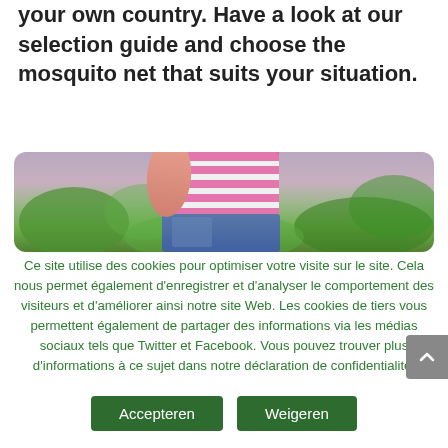your own country. Have a look at our selection guide and choose the mosquito net that suits your situation.
[Figure (photo): Partial photo of a person wearing a pink and white striped top with denim jeans, outdoors with green foliage background, cropped — only torso visible.]
Ce site utilise des cookies pour optimiser votre visite sur le site. Cela nous permet également d'enregistrer et d'analyser le comportement des visiteurs et d'améliorer ainsi notre site Web. Les cookies de tiers vous permettent également de partager des informations via les médias sociaux tels que Twitter et Facebook. Vous pouvez trouver plus d'informations à ce sujet dans notre déclaration de confidentialité.
Accepteren
Weigeren